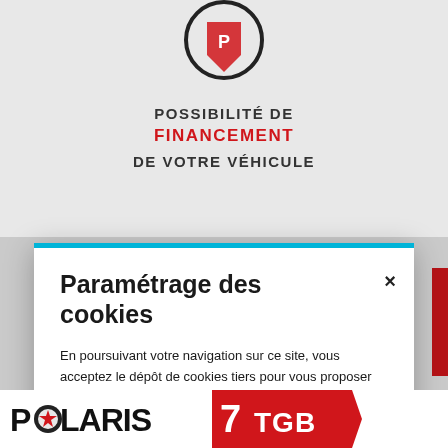[Figure (screenshot): Partial view of a vehicle financing webpage with a circular logo at top, background text 'POSSIBILITÉ DE FINANCEMENT DE VOTRE VÉHICULE' in bold, and brand logos at bottom (Polaris, TGB)]
POSSIBILITÉ DE
FINANCEMENT
DE VOTRE VÉHICULE
Paramétrage des cookies
En poursuivant votre navigation sur ce site, vous acceptez le dépôt de cookies tiers pour vous proposer une expérience personnalisée.
EN SAVOIR PLUS
ACCEPTER TOUT